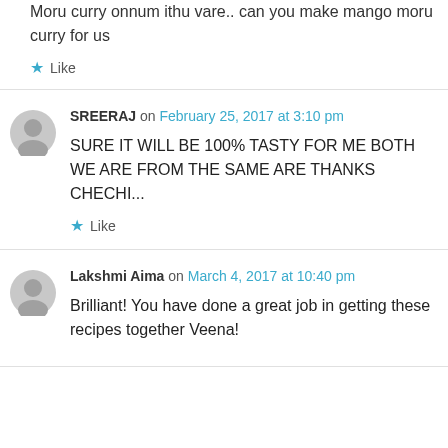Moru curry onnum ithu vare.. can you make mango moru curry for us
★ Like
SREERAJ on February 25, 2017 at 3:10 pm
SURE IT WILL BE 100% TASTY FOR ME BOTH WE ARE FROM THE SAME ARE THANKS CHECHI...
★ Like
Lakshmi Aima on March 4, 2017 at 10:40 pm
Brilliant! You have done a great job in getting these recipes together Veena!